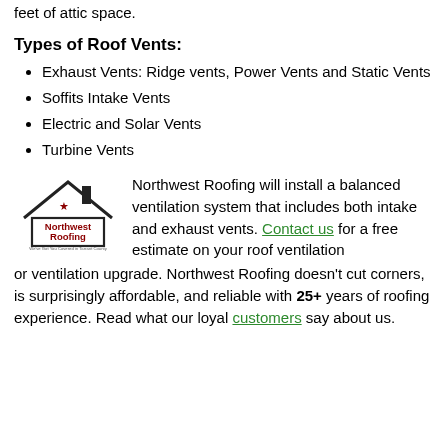feet of attic space.
Types of Roof Vents:
Exhaust Vents: Ridge vents, Power Vents and Static Vents
Soffits Intake Vents
Electric and Solar Vents
Turbine Vents
[Figure (logo): Northwest Roofing logo with house/roof icon and text 'Northwest Roofing' and tagline 'We've Got You Covered in Tarrant County']
Northwest Roofing will install a balanced ventilation system that includes both intake and exhaust vents. Contact us for a free estimate on your roof ventilation or ventilation upgrade. Northwest Roofing doesn't cut corners, is surprisingly affordable, and reliable with 25+ years of roofing experience. Read what our loyal customers say about us.